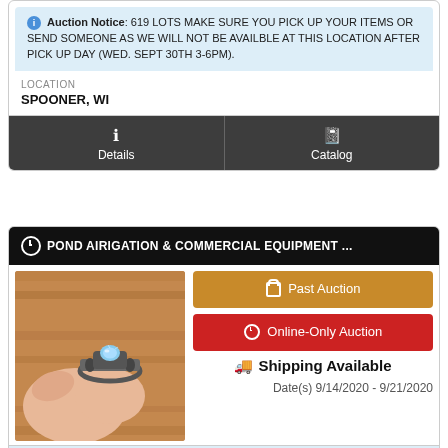Auction Notice: 619 LOTS MAKE SURE YOU PICK UP YOUR ITEMS OR SEND SOMEONE AS WE WILL NOT BE AVAILBLE AT THIS LOCATION AFTER PICK UP DAY (WED. SEPT 30TH 3-6PM).
LOCATION
SPOONER, WI
Details
Catalog
POND AIRIGATION & COMMERCIAL EQUIPMENT ...
[Figure (photo): Hand holding a ring with a blue gemstone, photographed on a wooden surface.]
Past Auction
Online-Only Auction
Shipping Available
Date(s) 9/14/2020 - 9/21/2020
Bidding Notice: PLEASE READ ALL TERMS, CONDITIONS &